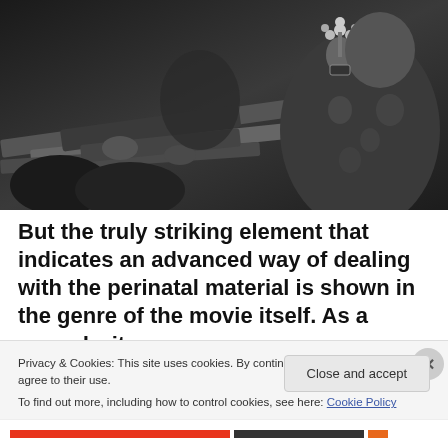[Figure (photo): Black and white photograph showing soldiers with rifles pointed outward and a person holding a white flower, a scene evoking protest or confrontation]
But the truly striking element that indicates an advanced way of dealing with the perinatal material is shown in the genre of the movie itself. As a comedy, it
Privacy & Cookies: This site uses cookies. By continuing to use this website, you agree to their use.
To find out more, including how to control cookies, see here: Cookie Policy
Close and accept